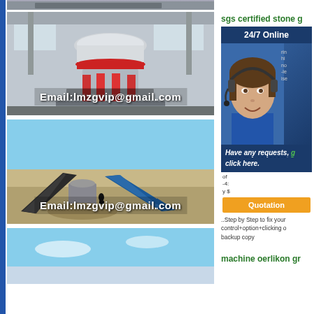[Figure (photo): Industrial cone crusher machine in a factory setting, with red and white components]
Email:lmzgvip@gmail.com
[Figure (photo): Outdoor mining/crushing operation with conveyor belts and equipment under blue sky]
Email:lmzgvip@gmail.com
[Figure (photo): Blue sky landscape, partial view]
sgs certified stone g
[Figure (infographic): 24/7 Online chat widget with customer service agent photo, Have any requests, click here. and Quotation button]
..Step by Step to fix your control+option+clicking o backup copy
machine oerlikon gr